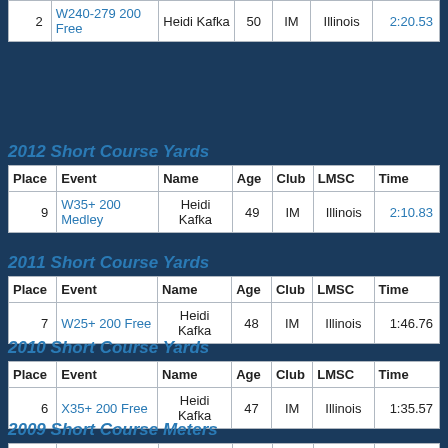| Place | Event | Name | Age | Club | LMSC | Time |
| --- | --- | --- | --- | --- | --- | --- |
| 2 | W240-279 200 Free | Heidi Kafka | 50 | IM | Illinois | 2:20.53 |
2012 Short Course Yards
| Place | Event | Name | Age | Club | LMSC | Time |
| --- | --- | --- | --- | --- | --- | --- |
| 9 | W35+ 200 Medley | Heidi Kafka | 49 | IM | Illinois | 2:10.83 |
2011 Short Course Yards
| Place | Event | Name | Age | Club | LMSC | Time |
| --- | --- | --- | --- | --- | --- | --- |
| 7 | W25+ 200 Free | Heidi Kafka | 48 | IM | Illinois | 1:46.76 |
2010 Short Course Yards
| Place | Event | Name | Age | Club | LMSC | Time |
| --- | --- | --- | --- | --- | --- | --- |
| 6 | X35+ 200 Free | Heidi Kafka | 47 | IM | Illinois | 1:35.57 |
2009 Short Course Meters
| Place | Event | Name | Age | Club | LMSC | Time |
| --- | --- | --- | --- | --- | --- | --- |
| 9 | W120-159 200 Medley | Heidi Kafka | 47 | IM | Illinois | 2:25.44 |